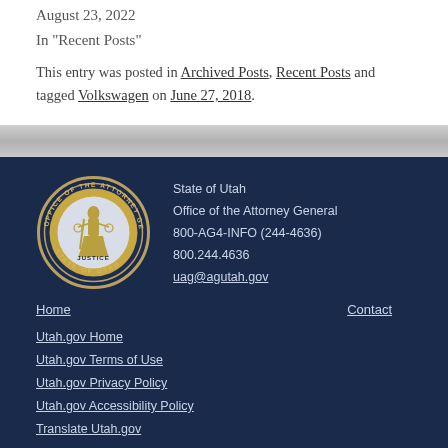August 23, 2022
In "Recent Posts"
This entry was posted in Archived Posts, Recent Posts and tagged Volkswagen on June 27, 2018.
[Figure (logo): Office of the Attorney General, State of Utah circular seal with justice figure]
State of Utah
Office of the Attorney General
800-AG4-INFO (244-4636)
800.244.4636
uag@agutah.gov
Home | Contact | Utah.gov Home | Utah.gov Terms of Use | Utah.gov Privacy Policy | Utah.gov Accessibility Policy | Translate Utah.gov